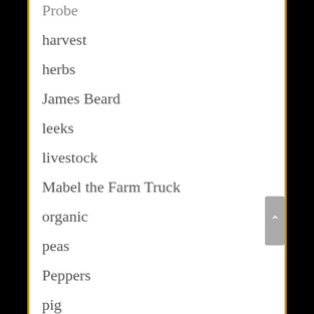Probe
harvest
herbs
James Beard
leeks
livestock
Mabel the Farm Truck
organic
peas
Peppers
pig